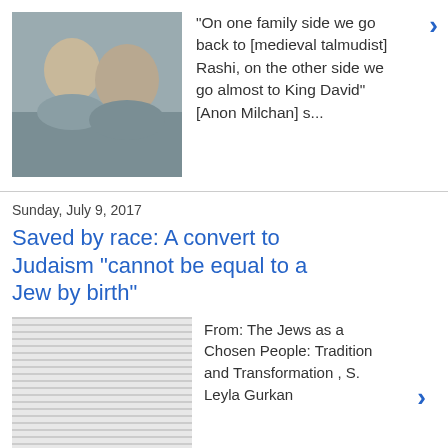[Figure (photo): Two men in a photo, appearing to be politicians or public figures]
"On one family side we go back to [medieval talmudist] Rashi, on the other side we go almost to King David" [Anon Milchan] s...
Sunday, July 9, 2017
Saved by race: A convert to Judaism "cannot be equal to a Jew by birth"
[Figure (screenshot): Page of dense text from a book or article]
From: The Jews as a Chosen People: Tradition and Transformation , S. Leyla Gurkan
1 comment:
Sunday, June 11, 2017
Russian Nationalism is a masonic contrivance; a Russian counterpart to British 'Atlanticism'